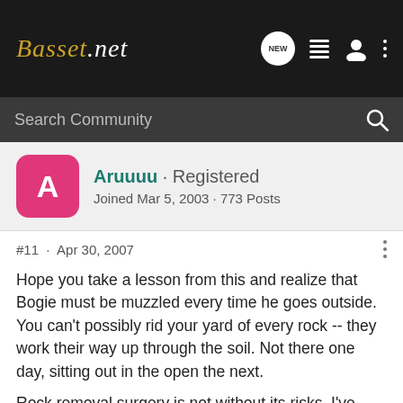Basset.net
Search Community
Aruuuu · Registered
Joined Mar 5, 2003 · 773 Posts
#11 · Apr 30, 2007
Hope you take a lesson from this and realize that Bogie must be muzzled every time he goes outside. You can't possibly rid your yard of every rock -- they work their way up through the soil. Not there one day, sitting out in the open the next.
Rock removal surgery is not without its risks. I've known of several dogs who did not make it through the surgery, or made it through and then developed fatal complications.
Much easier/safer for everyone to nip this in the bud. Edith Ann